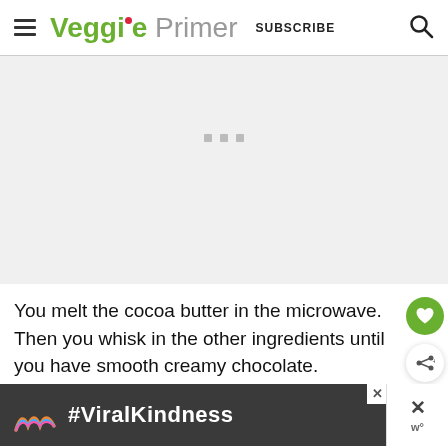Veggie Primer — SUBSCRIBE
[Figure (other): Gray placeholder advertisement area with three small gray squares centered]
You melt the cocoa butter in the microwave. Then you whisk in the other ingredients until you have smooth creamy chocolate.
[Figure (other): Advertisement banner showing #ViralKindness with rainbow illustration on dark background]